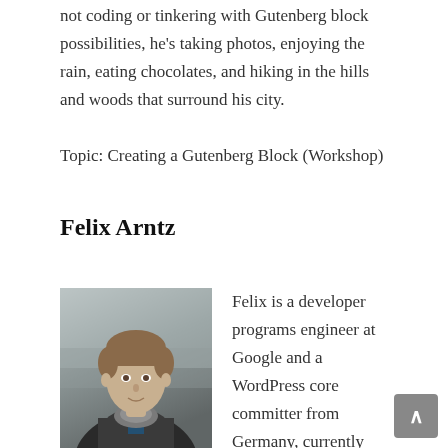not coding or tinkering with Gutenberg block possibilities, he's taking photos, enjoying the rain, eating chocolates, and hiking in the hills and woods that surround his city.
Topic: Creating a Gutenberg Block (Workshop)
Felix Arntz
[Figure (photo): Headshot of Felix Arntz, a young man with short brown hair wearing a dark jacket with a grey collar, photographed in an office setting.]
Felix is a developer programs engineer at Google and a WordPress core committer from Germany, currently residing in Switzerland. He has